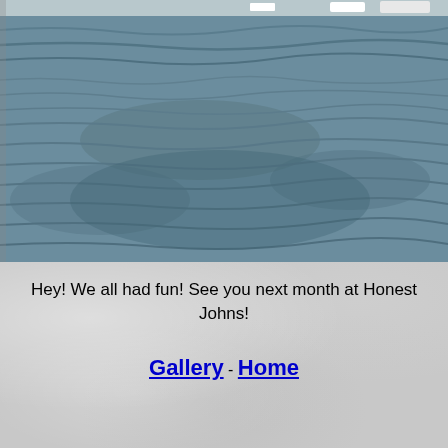[Figure (photo): Photograph of choppy water/lake surface with boats visible in the distant background at the top of the image. The water is blue-gray with visible ripples and waves.]
Hey! We all had fun! See you next month at Honest Johns!
Gallery - Home